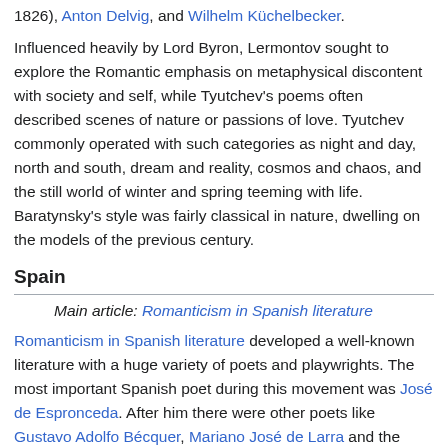1826), Anton Delvig, and Wilhelm Küchelbecker.
Influenced heavily by Lord Byron, Lermontov sought to explore the Romantic emphasis on metaphysical discontent with society and self, while Tyutchev's poems often described scenes of nature or passions of love. Tyutchev commonly operated with such categories as night and day, north and south, dream and reality, cosmos and chaos, and the still world of winter and spring teeming with life. Baratynsky's style was fairly classical in nature, dwelling on the models of the previous century.
Spain
Main article: Romanticism in Spanish literature
Romanticism in Spanish literature developed a well-known literature with a huge variety of poets and playwrights. The most important Spanish poet during this movement was José de Espronceda. After him there were other poets like Gustavo Adolfo Bécquer, Mariano José de Larra and the dramatist José Zorrilla, author of Don Juan Tenorio. Before them may be mentioned the pre-romantics José Cadalso and Manuel José Quintana.[70] The plays of Antonio García Gutiérrez were adapted to produce